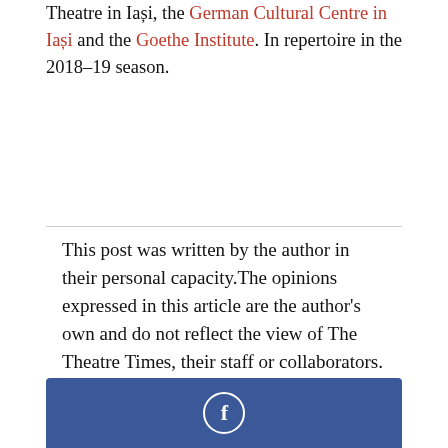Theatre in Iași, the German Cultural Centre in Iași and the Goethe Institute. In repertoire in the 2018–19 season.
This post was written by the author in their personal capacity.The opinions expressed in this article are the author's own and do not reflect the view of The Theatre Times, their staff or collaborators.
[Figure (other): Facebook social share button bar with white 'f' icon on dark blue background]